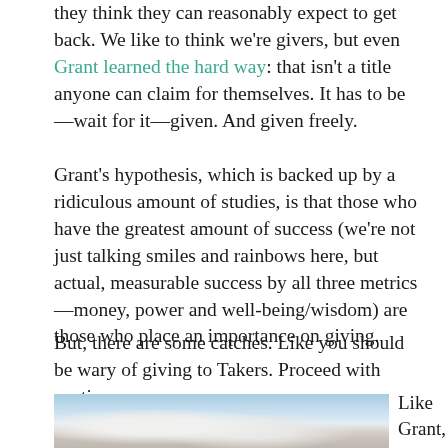they think they can reasonably expect to get back. We like to think we're givers, but even Grant learned the hard way: that isn't a title anyone can claim for themselves. It has to be—wait for it—given. And given freely.
Grant's hypothesis, which is backed up by a ridiculous amount of studies, is that those who have the greatest amount of success (we're not just talking smiles and rainbows here, but actual, measurable success by all three metrics—money, power and well-being/wisdom) are those who place an importance on giving.
But, there are some catches. Like you should be wary of giving to Takers. Proceed with caution.
[Figure (photo): A hand reaching up toward a blue sky with clouds]
Like Grant, I aspire to be a giver. I